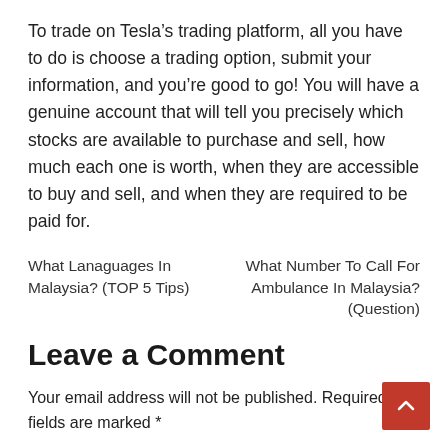To trade on Tesla's trading platform, all you have to do is choose a trading option, submit your information, and you're good to go! You will have a genuine account that will tell you precisely which stocks are available to purchase and sell, how much each one is worth, when they are accessible to buy and sell, and when they are required to be paid for.
What Lanaguages In Malaysia? (TOP 5 Tips)
What Number To Call For Ambulance In Malaysia? (Question)
Leave a Comment
Your email address will not be published. Required fields are marked *